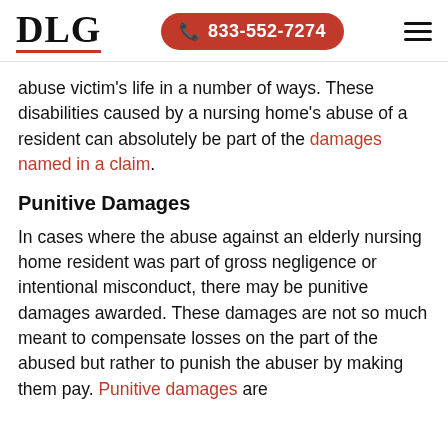DLG | 833-552-7274
abuse victim's life in a number of ways. These disabilities caused by a nursing home's abuse of a resident can absolutely be part of the damages named in a claim.
Punitive Damages
In cases where the abuse against an elderly nursing home resident was part of gross negligence or intentional misconduct, there may be punitive damages awarded. These damages are not so much meant to compensate losses on the part of the abused but rather to punish the abuser by making them pay. Punitive damages are